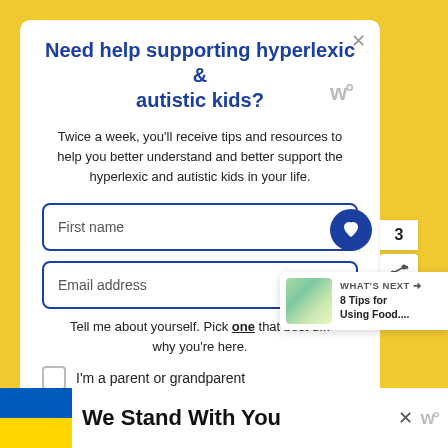Need help supporting hyperlexic & autistic kids?
Twice a week, you'll receive tips and resources to help you better understand and better support the hyperlexic and autistic kids in your life.
First name
Email address
Tell me about yourself. Pick one that best describes why you're here.
I'm a parent or grandparent
WHAT'S NEXT → 8 Tips for Using Food....
We Stand With You